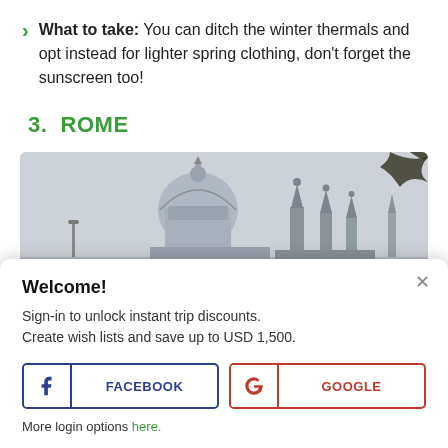What to take: You can ditch the winter thermals and opt instead for lighter spring clothing, don't forget the sunscreen too!
3.  ROME
[Figure (photo): Skyline photo of Rome showing several domed and spired buildings including a large dome similar to St. Peter's Basilica, against a light grey sky with tree branches in upper right corner.]
Welcome!
Sign-in to unlock instant trip discounts.
Create wish lists and save up to USD 1,500.
More login options here.